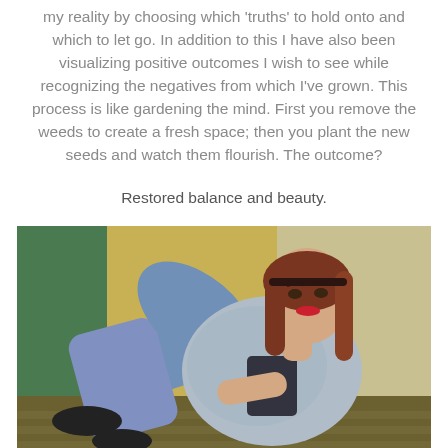my reality by choosing which 'truths' to hold onto and which to let go. In addition to this I have also been visualizing positive outcomes I wish to see while recognizing the negatives from which I've grown. This process is like gardening the mind. First you remove the weeds to create a fresh space; then you plant the new seeds and watch them flourish. The outcome?
Restored balance and beauty.
[Figure (photo): A young woman with red-brown hair and red lipstick wearing a floral/paisley kimono-style jacket over a black top and ripped blue jeans, sitting casually against a yellow cushioned surface with a green background, wearing black shoes.]